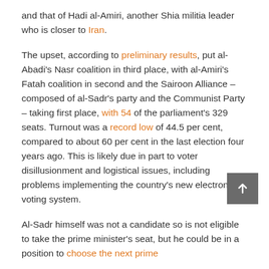and that of Hadi al-Amiri, another Shia militia leader who is closer to Iran.
The upset, according to preliminary results, put al-Abadi's Nasr coalition in third place, with al-Amiri's Fatah coalition in second and the Sairoon Alliance – composed of al-Sadr's party and the Communist Party – taking first place, with 54 of the parliament's 329 seats. Turnout was a record low of 44.5 per cent, compared to about 60 per cent in the last election four years ago. This is likely due in part to voter disillusionment and logistical issues, including problems implementing the country's new electronic voting system.
Al-Sadr himself was not a candidate so is not eligible to take the prime minister's seat, but he could be in a position to choose the next prime